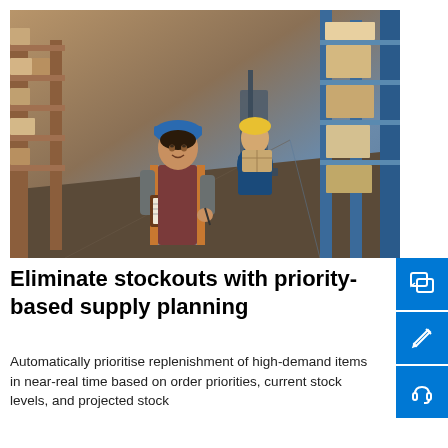[Figure (photo): Warehouse workers: a woman in a blue hard hat holding a clipboard looking up at shelves, and a man in a yellow hard hat carrying a box in the background, with tall shelving racks filled with boxes.]
Eliminate stockouts with priority-based supply planning
Automatically prioritise replenishment of high-demand items in near-real time based on order priorities, current stock levels, and projected stock